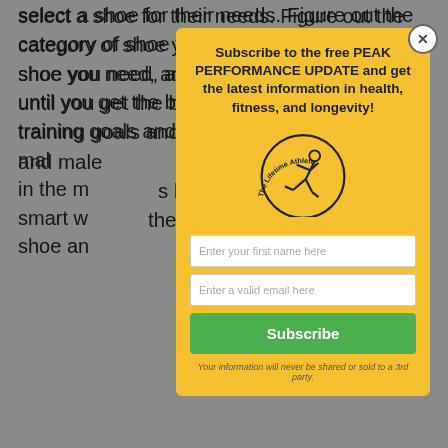select a shoe for their needs. Figure out the category of shoe you want, how substantial a shoe you need, and try on multiple brands until you get the best fit. Think about your training goals and commonly-used terrain, and make sure you get the right shoe right in the moment. It's being smart with your shoe and...
Share this:
Like this:
Be the first to...
[Figure (screenshot): Modal popup with yellow background containing subscription form for PEAK PERFORMANCE UPDATE newsletter. Includes The Lifetime Athlete logo, two input fields (first name, email), green Subscribe button, and privacy note.]